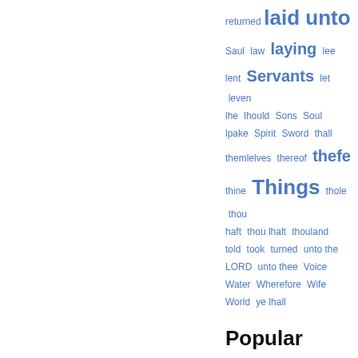returned laid unto Saul law laying fee lent Servants let leven lhe lhould Sons Soul lpake Spirit Sword thall themlelves thereof thefe thine Things thole thou haft thou lhalt thouland told took turned unto the LORD unto thee Voice Water Wherefore Wife World ye lhall
Popular passages
Page 609 - If it be so, our God whom we serve is able to deliver us from